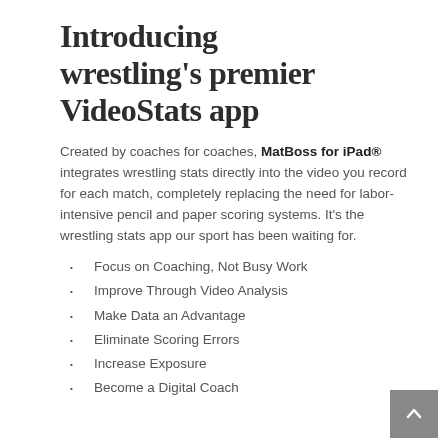Introducing wrestling's premier VideoStats app
Created by coaches for coaches, MatBoss for iPad® integrates wrestling stats directly into the video you record for each match, completely replacing the need for labor-intensive pencil and paper scoring systems. It's the wrestling stats app our sport has been waiting for.
Focus on Coaching, Not Busy Work
Improve Through Video Analysis
Make Data an Advantage
Eliminate Scoring Errors
Increase Exposure
Become a Digital Coach